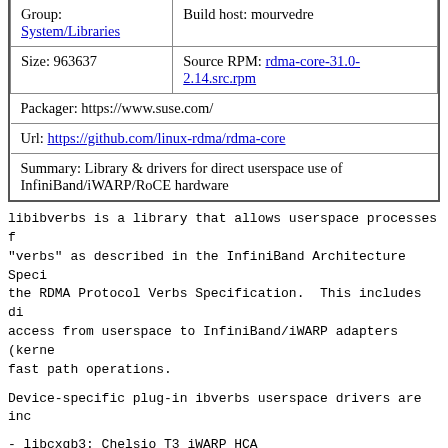| Group:
System/Libraries | Build host: mourvedre |
| Size: 963637 | Source RPM: rdma-core-31.0-2.14.src.rpm |
| Packager: https://www.suse.com/ |  |
| Url: https://github.com/linux-rdma/rdma-core |  |
| Summary: Library & drivers for direct userspace use of InfiniBand/iWARP/RoCE hardware |  |
libibverbs is a library that allows userspace processes to use "verbs" as described in the InfiniBand Architecture Specification or the RDMA Protocol Verbs Specification. This includes direct hardware access from userspace to InfiniBand/iWARP adapters (kernel bypass for fast path operations.
Device-specific plug-in ibverbs userspace drivers are included:
- libcxgb3: Chelsio T3 iWARP HCA
- libcxgb4: Chelsio T4 iWARP HCA
- libefa: Amazon Elastic Fabric Adapter
- libhfi1: Intel Omni-Path HFI
- libhns: HiSilicon Hip06 SoC
- libi40iw: Intel Ethernet Connection X722 RDMA